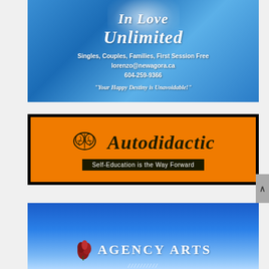[Figure (illustration): Advertisement for 'In Love Unlimited' counseling service on a blue sky background with glowing light. Text includes: 'In Love Unlimited', 'Singles, Couples, Families, First Session Free', 'lorenzo@newagora.ca', '604-259-9366', '"Your Happy Destiny is Unavoidable!"']
[Figure (logo): Advertisement for 'Autodidactic' on an orange background with black border. Features a brain illustration and text: 'Autodidactic' in large italic font, and 'Self-Education is the Way Forward' in a black banner.]
[Figure (illustration): Advertisement for 'Agency Arts' on a blue gradient background. Features a red rose/leaf icon and text 'Agency Arts' in white uppercase serif font.]